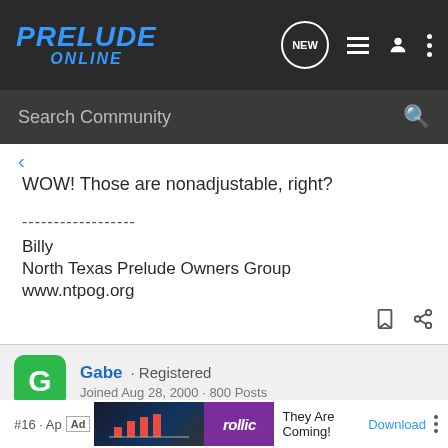PRELUDE ONLINE
WOW! Those are nonadjustable, right?

------------------
Billy
North Texas Prelude Owners Group
www.ntpog.org
Gabe · Registered
Joined Aug 28, 2000 · 800 Posts
[Figure (screenshot): Advertisement banner: 'They Are Coming!' with Rollic game ad and Download button]